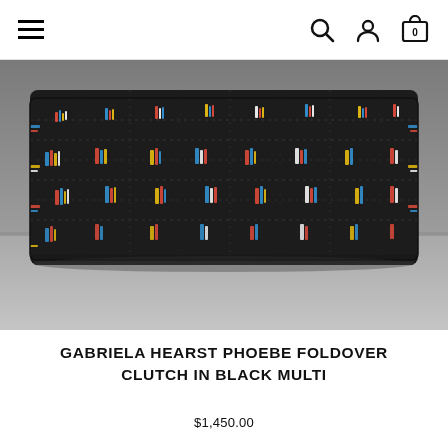Navigation header with hamburger menu, search icon, account icon, and cart icon (0 items)
[Figure (photo): Close-up photograph of a Gabriela Hearst Phoebe Foldover Clutch in Black Multi — a rectangular clutch bag with dark black tweed fabric featuring multicolor woven fringe details (red, blue, yellow, white threads) on a gray surface background.]
GABRIELA HEARST PHOEBE FOLDOVER CLUTCH IN BLACK MULTI
$1,450.00